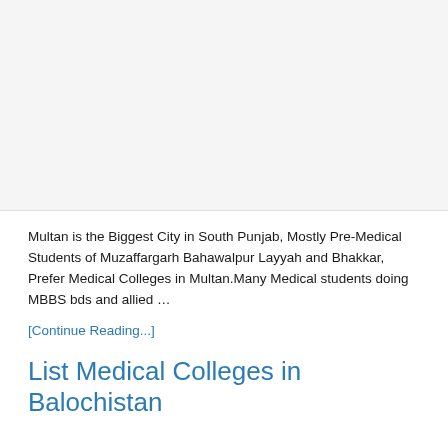[Figure (other): Advertisement or image placeholder area at the top of the page]
Multan is the Biggest City in South Punjab, Mostly Pre-Medical Students of Muzaffargarh Bahawalpur Layyah and Bhakkar, Prefer Medical Colleges in Multan.Many Medical students doing MBBS bds and allied …
[Continue Reading...]
List Medical Colleges in Balochistan